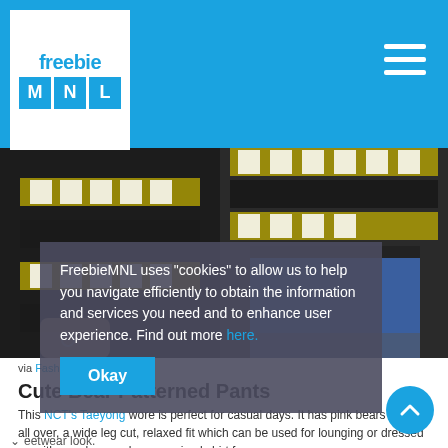freebie MNL
[Figure (photo): Two photos of a person wearing a black, yellow, and white patterned graphic shirt. Left photo shows torso and hands with a ring. Right photo shows torso with blue jeans and fishnet stockings.]
via Fashion Chingu
Cute Bear Patterned Pants
This NCT's Taeyong wore is perfect for casual days. It has pink bears printed all over, a wide leg cut, relaxed fit which can be used for lounging or dressed up with sneakers and an oversized shirt for a streetwear look.
[Figure (screenshot): Cookie consent overlay: 'FreebieMNL uses "cookies" to allow us to help you navigate efficiently to obtain the information and services you need and to enhance user experience. Find out more' with an Okay button.]